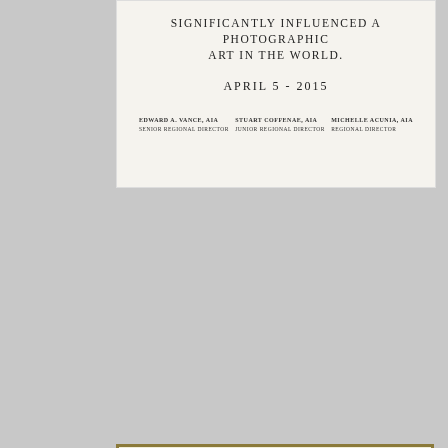[Figure (other): Top portion of a certificate. Text reads: SIGNIFICANTLY INFLUENCED A PHOTOGRAPHIC ART IN THE WORLD. APRIL 5 - 2015. Signed by Edward A. Vance AIA Senior Regional Director, Stuart Coffenae AIA Junior Regional Director, Michelle Acunia AIA Regional Director.]
[Figure (other): University of Queensland certificate for UNITED PHOTO PRESS, twenty-five year award. Given under the common seal of the University of Queensland the twentieth day of April, 2015. Features red wax seal and signature.]